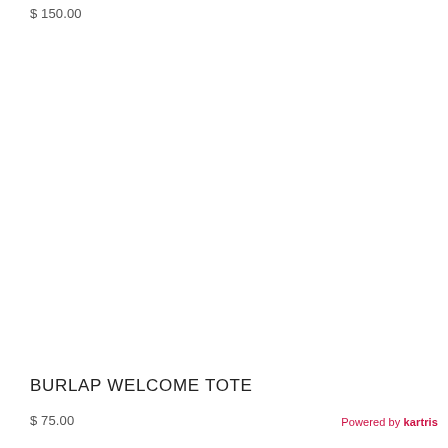$ 150.00
BURLAP WELCOME TOTE
$ 75.00
Powered by kartris